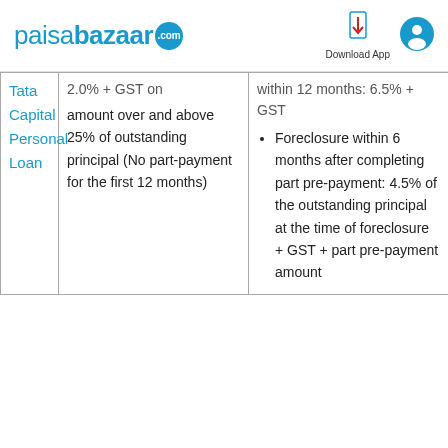paisabazaar.com — Download App
| Lender | Part-Payment Charges | Foreclosure Charges |
| --- | --- | --- |
| Tata Capital Personal Loan | 2.0% + GST on amount over and above 25% of outstanding principal (No part-payment for the first 12 months) | within 12 months: 6.5% + GST
Foreclosure within 6 months after completing part pre-payment: 4.5% of the outstanding principal at the time of foreclosure + GST + part pre-payment amount |